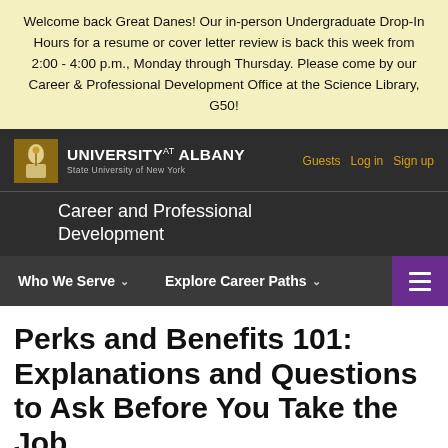Welcome back Great Danes! Our in-person Undergraduate Drop-In Hours for a resume or cover letter review is back this week from 2:00 - 4:00 p.m., Monday through Thursday. Please come by our Career & Professional Development Office at the Science Library, G50!
University at Albany — State University of New York | Career and Professional Development | Who We Serve | Explore Career Paths | Guests | Log in | Sign up
Perks and Benefits 101: Explanations and Questions to Ask Before You Take the Job
[Figure (photo): A young woman with dark hair sitting on a couch with decorative pillows (teal and tan/woven), looking down, possibly reading or working.]